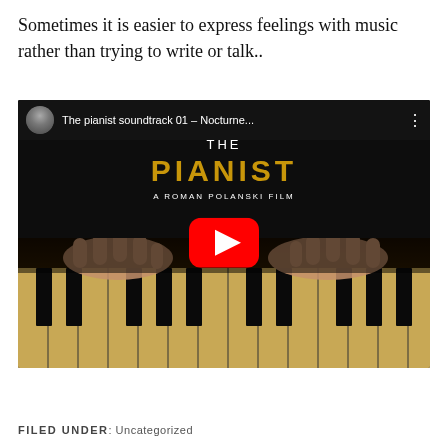Sometimes it is easier to express feelings with music rather than trying to write or talk..
[Figure (screenshot): YouTube video thumbnail for 'The pianist soundtrack 01 - Nocturne...' showing The Pianist film poster with title text and hands playing piano keys, with a red YouTube play button in the center.]
FILED UNDER: Uncategorized